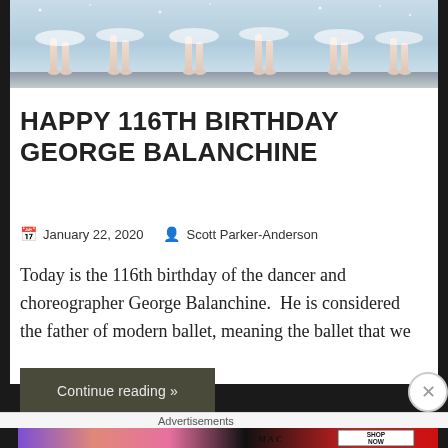[Figure (photo): Ballet dancers' legs and tutus on stage, sparkly blue-grey background, viewed from below]
HAPPY 116TH BIRTHDAY GEORGE BALANCHINE
January 22, 2020   Scott Parker-Anderson
Today is the 116th birthday of the dancer and choreographer George Balanchine.  He is considered the father of modern ballet, meaning the ballet that we
Continue reading »
Advertisements
[Figure (photo): MAC cosmetics advertisement showing lipsticks with MAC logo and SHOP NOW button]